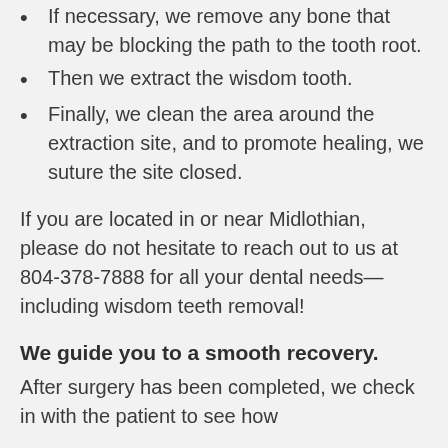If necessary, we remove any bone that may be blocking the path to the tooth root.
Then we extract the wisdom tooth.
Finally, we clean the area around the extraction site, and to promote healing, we suture the site closed.
If you are located in or near Midlothian, please do not hesitate to reach out to us at 804-378-7888 for all your dental needs—including wisdom teeth removal!
We guide you to a smooth recovery.
After surgery has been completed, we check in with the patient to see how